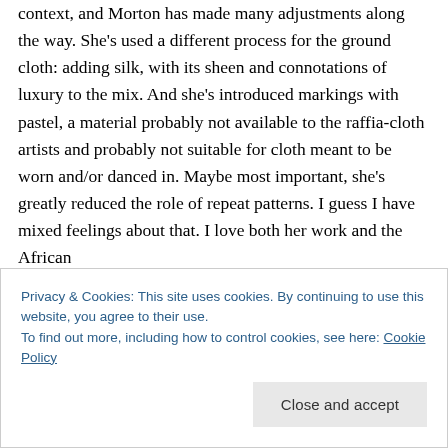context, and Morton has made many adjustments along the way. She's used a different process for the ground cloth: adding silk, with its sheen and connotations of luxury to the mix. And she's introduced markings with pastel, a material probably not available to the raffia-cloth artists and probably not suitable for cloth meant to be worn and/or danced in. Maybe most important, she's greatly reduced the role of repeat patterns. I guess I have mixed feelings about that. I love both her work and the African
Privacy & Cookies: This site uses cookies. By continuing to use this website, you agree to their use.
To find out more, including how to control cookies, see here: Cookie Policy